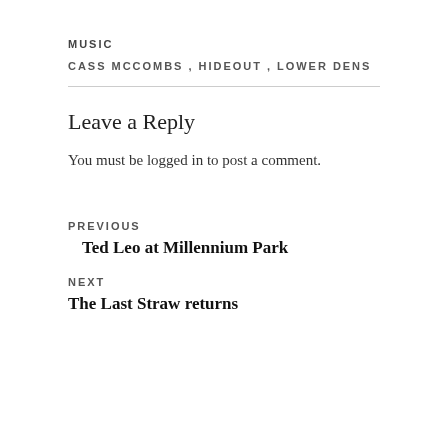MUSIC
CASS MCCOMBS, HIDEOUT, LOWER DENS
Leave a Reply
You must be logged in to post a comment.
PREVIOUS
Ted Leo at Millennium Park
NEXT
The Last Straw returns